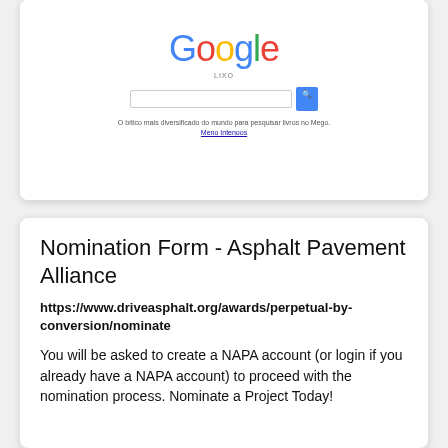[Figure (screenshot): Screenshot of Google search homepage showing the Google logo, a search input bar with a blue search button, and Portuguese text tagline below the search bar.]
Nomination Form - Asphalt Pavement Alliance
https://www.driveasphalt.org/awards/perpetual-by-conversion/nominate
You will be asked to create a NAPA account (or login if you already have a NAPA account) to proceed with the nomination process. Nominate a Project Today!